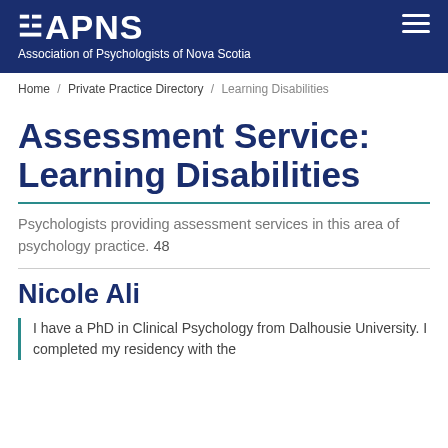APNS Association of Psychologists of Nova Scotia
Home / Private Practice Directory / Learning Disabilities
Assessment Service: Learning Disabilities
Psychologists providing assessment services in this area of psychology practice. 48
Nicole Ali
I have a PhD in Clinical Psychology from Dalhousie University. I completed my residency with the